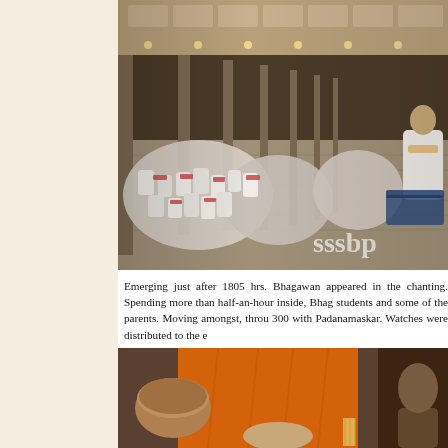[Figure (photo): Large indoor hall with many people seated on the floor in white and red attire, engaged in chanting or prayer. A watermark 'sssbp' is visible in the bottom right corner of the image.]
Emerging just after 1805 hrs. Bhagawan appeared in the chanting. Spending more than half-an-hour inside, Bhag students and some of the parents. Moving amongst, throu 300 with Padanamaskar. Watches were distributed to the e
[Figure (photo): Close-up photo showing a person in an orange robe, with another person visible in the background.]